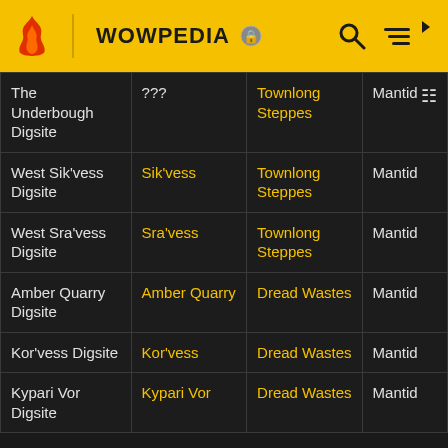WOWPEDIA
|  |  |  |  |
| --- | --- | --- | --- |
| The Underbough Digsite | ??? | Townlong Steppes | Mantid |
| West Sik'vess Digsite | Sik'vess | Townlong Steppes | Mantid |
| West Sra'vess Digsite | Sra'vess | Townlong Steppes | Mantid |
| Amber Quarry Digsite | Amber Quarry | Dread Wastes | Mantid |
| Kor'vess Digsite | Kor'vess | Dread Wastes | Mantid |
| Kypari Vor Digsite | Kypari Vor | Dread Wastes | Mantid |